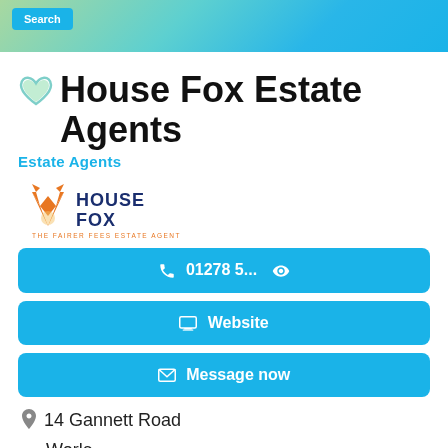[Figure (screenshot): Blue/green gradient banner with a Search button at top left]
House Fox Estate Agents
Estate Agents
[Figure (logo): House Fox estate agent logo with fox icon and tagline THE FAIRER FEES ESTATE AGENT]
📞 01278 5... 👁
🖥 Website
✉ Message now
📍 14 Gannett Road
Worle
Weston Super Mare
BS22 8UT